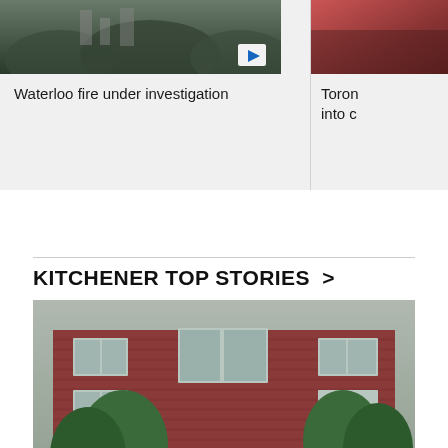[Figure (photo): Thumbnail image of hillside with trees, partially visible, with a play button overlay — related to Waterloo fire story]
Waterloo fire under investigation
[Figure (photo): Partial thumbnail image with red/orange tones — Toronto related story]
Toron into c
KITCHENER TOP STORIES >
[Figure (photo): Exterior photo of a red brick building housing a Family Medicine clinic, with green awning, Family Health Team signage, stairs and trees visible in front]